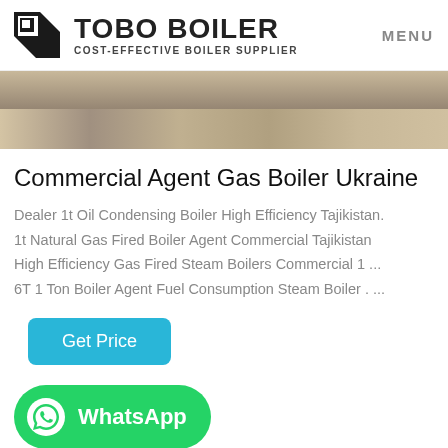TOBO BOILER COST-EFFECTIVE BOILER SUPPLIER | MENU
[Figure (photo): Industrial facility interior photo showing machinery and equipment with orange/yellow piping overhead]
Commercial Agent Gas Boiler Ukraine
Dealer 1t Oil Condensing Boiler High Efficiency Tajikistan. 1t Natural Gas Fired Boiler Agent Commercial Tajikistan High Efficiency Gas Fired Steam Boilers Commercial 1 ... 6T 1 Ton Boiler Agent Fuel Consumption Steam Boiler . ...
Get Price
[Figure (logo): WhatsApp button with WhatsApp icon and text]
[Figure (photo): Industrial boiler equipment photo showing blue/dark machinery with yellow piping]